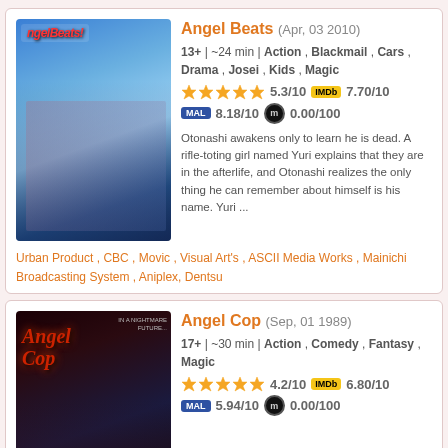[Figure (photo): Angel Beats anime poster showing characters in blue tones]
Angel Beats (Apr, 03 2010)
13+ | ~24 min | Action , Blackmail , Cars , Drama , Josei , Kids , Magic
5.3/10  IMDb 7.70/10  MAL 8.18/10  0.00/100
Otonashi awakens only to learn he is dead. A rifle-toting girl named Yuri explains that they are in the afterlife, and Otonashi realizes the only thing he can remember about himself is his name. Yuri ...
Urban Product , CBC , Movic , Visual Art's , ASCII Media Works , Mainichi Broadcasting System , Aniplex, Dentsu
[Figure (photo): Angel Cop anime poster with dark dystopian cityscape and female character]
Angel Cop (Sep, 01 1989)
17+ | ~30 min | Action , Comedy , Fantasy , Magic
4.2/10  IMDb 6.80/10  MAL 5.94/10  0.00/100